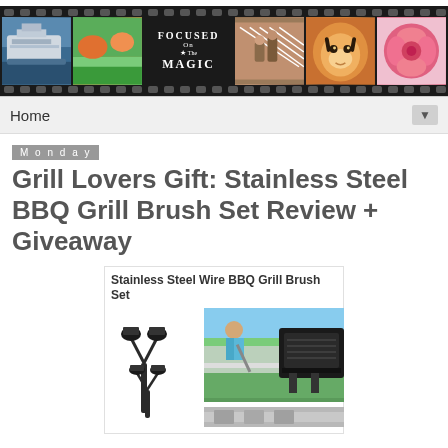[Figure (logo): Focused on the Magic blog header — filmstrip banner with photos of a cruise ship, garden, logo text, running track, tiger, and rose]
Home ▼
Monday
Grill Lovers Gift: Stainless Steel BBQ Grill Brush Set Review + Giveaway
[Figure (photo): Product composite image: Stainless Steel Wire BBQ Grill Brush Set — illustration of two grill brushes on left, photo of girl cleaning grill on right, partial photo below]